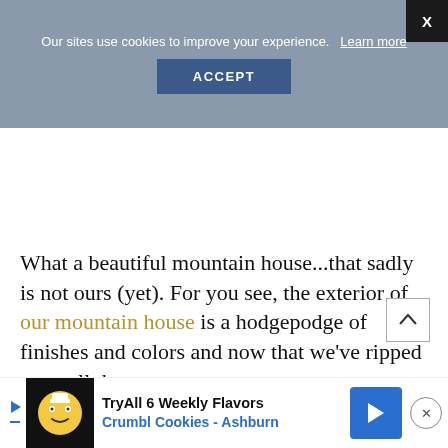Our sites use cookies to improve your experience.   Learn more
ACCEPT
What a beautiful mountain house...that sadly is not ours (yet). For you see, the exterior of our mountain house is a hodgepodge of finishes and colors and now that we've ripped open all the walls
[Figure (other): Advertisement banner for Crumbl Cookies - Ashburn: Try All 6 Weekly Flavors]